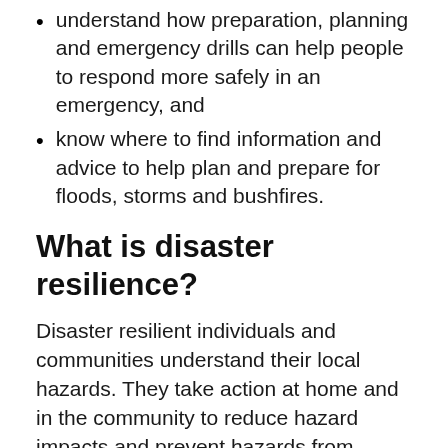understand how preparation, planning and emergency drills can help people to respond more safely in an emergency, and
know where to find information and advice to help plan and prepare for floods, storms and bushfires.
What is disaster resilience?
Disaster resilient individuals and communities understand their local hazards. They take action at home and in the community to reduce hazard impacts and prevent hazards from becoming disasters. They follow safety advice and warnings and respond safely during an emergency. After an emergency, they support each other to recover.
Hazards such as storms, floods and bushfires